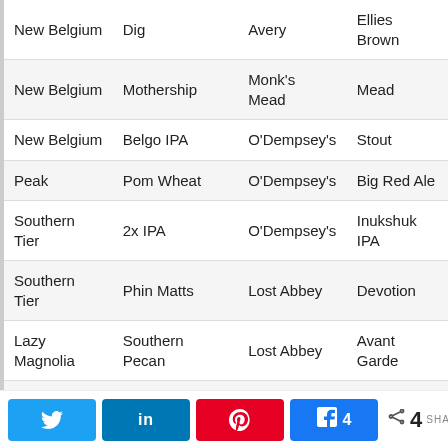| Brewery | Beer | Paired With | Style |
| --- | --- | --- | --- |
| New Belgium | Dig | Avery | Ellies Brown |
| New Belgium | Mothership | Monk's Mead | Mead |
| New Belgium | Belgo IPA | O'Dempsey's | Stout |
| Peak | Pom Wheat | O'Dempsey's | Big Red Ale |
| Southern Tier | 2x IPA | O'Dempsey's | Inukshuk IPA |
| Southern Tier | Phin Matts | Lost Abbey | Devotion |
| Lazy Magnolia | Southern Pecan | Lost Abbey | Avant Garde |
| Kona | Longboard Lager | Port Brewing | Old Viscosity |
| Widmer | Drifter Pale Ale | Victory | Yakima |